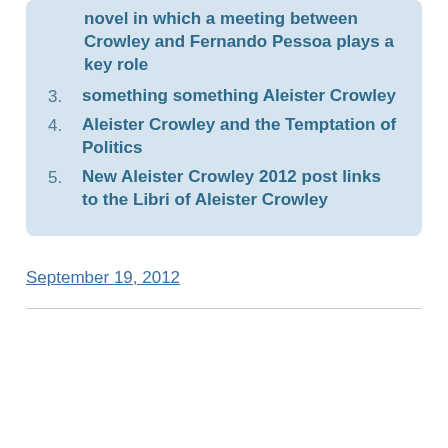novel in which a meeting between Crowley and Fernando Pessoa plays a key role
3. something something Aleister Crowley
4. Aleister Crowley and the Temptation of Politics
5. New Aleister Crowley 2012 post links to the Libri of Aleister Crowley
September 19, 2012